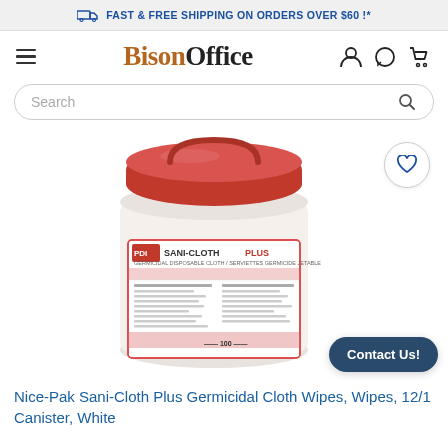FAST & FREE SHIPPING ON ORDERS OVER $60 !*
[Figure (logo): BisonOffice logo with hamburger menu and nav icons (user, chat, cart)]
[Figure (screenshot): Search bar with placeholder text 'Search' and magnifying glass icon]
[Figure (photo): PDI Sani-Cloth Plus Germicidal Disposable Cloth wipes canister with red lid, white body with red label. Wishlist heart icon on top right. Contact Us button on bottom right.]
Nice-Pak Sani-Cloth Plus Germicidal Cloth Wipes, Wipes, 12/1 Canister, White